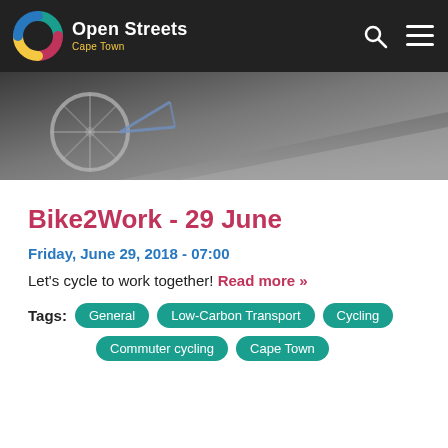Open Streets Cape Town
[Figure (photo): Close-up photo of a bicycle wheel and road surface, blurred motion effect]
Bike2Work - 29 June
Friday, June 29, 2018 - 07:00
Let's cycle to work together! Read more »
Tags: General | Low-Carbon Transport | Cycling | Commuter cycling | Cape Town